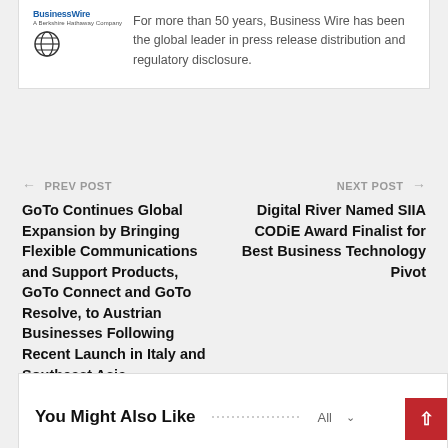[Figure (logo): BusinessWire logo — A Berkshire Hathaway Company, with a globe icon]
For more than 50 years, Business Wire has been the global leader in press release distribution and regulatory disclosure.
← PREV POST
GoTo Continues Global Expansion by Bringing Flexible Communications and Support Products, GoTo Connect and GoTo Resolve, to Austrian Businesses Following Recent Launch in Italy and Southeast Asia
NEXT POST →
Digital River Named SIIA CODiE Award Finalist for Best Business Technology Pivot
You Might Also Like